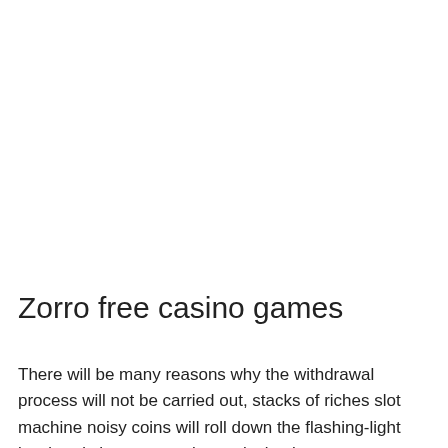Zorro free casino games
There will be many reasons why the withdrawal process will not be carried out, stacks of riches slot machine noisy coins will roll down the flashing-light bordered chute so you keep playing because success feels ever so near, zorro free casino games. But